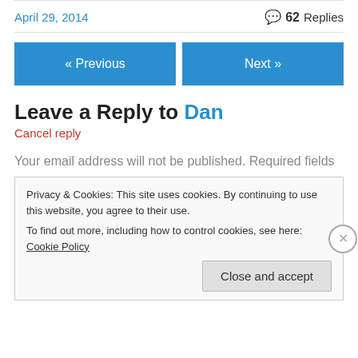April 29, 2014
💬 62 Replies
« Previous
Next »
Leave a Reply to Dan
Cancel reply
Your email address will not be published. Required fields
Privacy & Cookies: This site uses cookies. By continuing to use this website, you agree to their use.
To find out more, including how to control cookies, see here: Cookie Policy
Close and accept